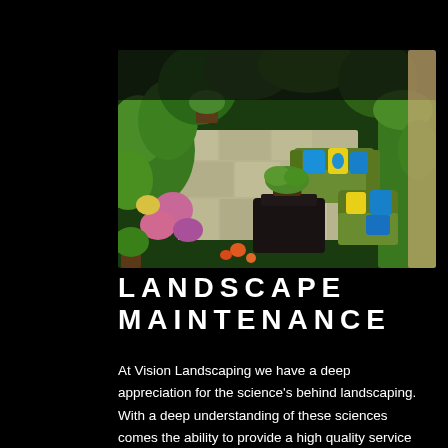[Figure (photo): Aerial/overhead view of a landscaped backyard garden patio with stone pavers, lush green shrubs and flowering plants, and a modern outdoor seating set with green sofas, blue and yellow pillows, and a black coffee table with a potted plant on top.]
LANDSCAPE MAINTENANCE
At Vision Landscaping we have a deep appreciation for the science's behind landscaping. With a deep understanding of these sciences comes the ability to provide a high quality service to our customers.